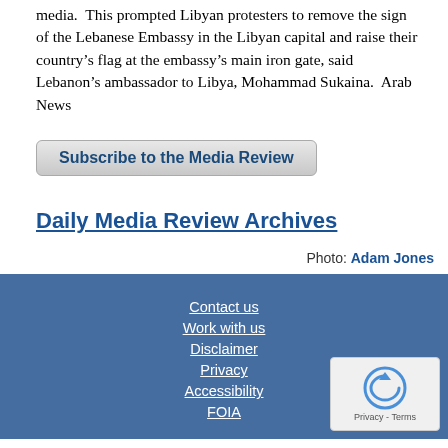media.  This prompted Libyan protesters to remove the sign of the Lebanese Embassy in the Libyan capital and raise their country’s flag at the embassy’s main iron gate, said Lebanon’s ambassador to Libya, Mohammad Sukaina.  Arab News
Subscribe to the Media Review
Daily Media Review Archives
Photo: Adam Jones
Contact us
Work with us
Disclaimer
Privacy
Accessibility
FOIA